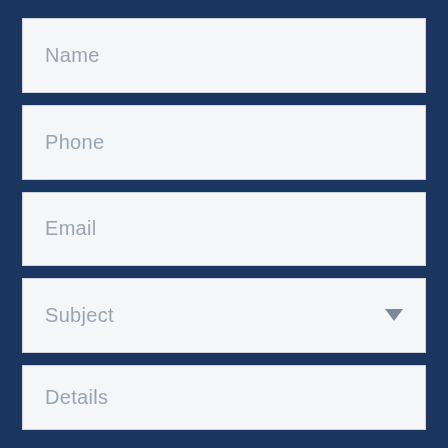Name
Phone
Email
Subject
Details